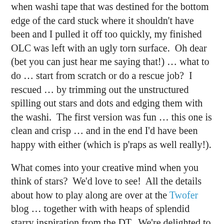when washi tape that was destined for the bottom edge of the card stuck where it shouldn't have been and I pulled it off too quickly, my finished OLC was left with an ugly torn surface.  Oh dear (bet you can just hear me saying that!) … what to do … start from scratch or do a rescue job?  I rescued … by trimming out the unstructured spilling out stars and dots and edging them with the washi.  The first version was fun … this one is clean and crisp … and in the end I'd have been happy with either (which is p'raps as well really!).
What comes into your creative mind when you think of stars?  We'd love to see!  All the details about how to play along are over at the Twofer blog … together with with heaps of splendid starry inspiration from the DT.  We're delighted to have two Guest Designers with us this month … Barb from Barb's Studio Creations and Cat from Cat